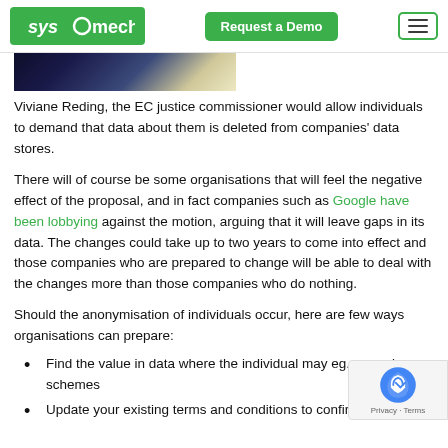sysmech | Request a Demo | Menu
[Figure (photo): Dark themed image, partially visible, showing a bright light burst against a dark background.]
Viviane Reding, the EC justice commissioner would allow individuals to demand that data about them is deleted from companies' data stores.
There will of course be some organisations that will feel the negative effect of the proposal, and in fact companies such as Google have been lobbying against the motion, arguing that it will leave gaps in its data. The changes could take up to two years to come into effect and those companies who are prepared to change will be able to deal with the changes more than those companies who do nothing.
Should the anonymisation of individuals occur, here are few ways organisations can prepare:
Find the value in data where the individual may eg. reward schemes
Update your existing terms and conditions to confirm